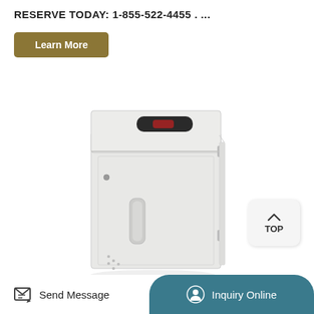RESERVE TODAY: 1-855-522-4455 . ...
Learn More
[Figure (photo): White metal laboratory or medical cabinet with a dark display panel on top and a lockable door with handle.]
TOP
Send Message
Inquiry Online